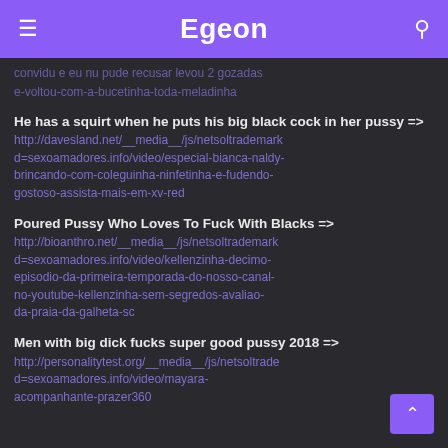Egeon
convidu e eu nu pude recusar levou 2 gozadas e-voltou-com-a-bucetinha-toda-meladinha
He has a squirt when he puts his big black cock in her pussy => http://davesland.net/__media__/js/netsoltrademark d=sexoamadores.info/video/especial-bianca-naldy-brincando-com-coleguinha-ninfetinha-e-fudendo-gostoso-assista-mais-em-xv-red
Poured Pussy Who Loves To Fuck With Blacks => http://bioanthro.net/__media__/js/netsoltrademark d=sexoamadores.info/video/kellenzinha-decimo-episodio-da-primeira-temporada-do-nosso-canal-no-youtube-kellenzinha-sem-segredos-avaliao-da-praia-da-galheta-sc
Men with big dick fucks super good pussy 2018 => http://personalitytest.org/__media__/js/netsoltrade d=sexoamadores.info/video/mayara-acompanhante-prazer360